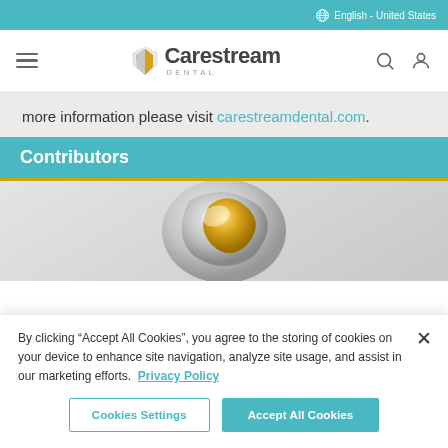English - United States
[Figure (logo): Carestream Dental logo with navigation bar including hamburger menu, search icon, and user icon]
more information please visit carestreamdental.com.
Contributors
[Figure (logo): Carestream Dental 3D logo mark - metallic silver and gold abstract shape on gray gradient background]
By clicking “Accept All Cookies”, you agree to the storing of cookies on your device to enhance site navigation, analyze site usage, and assist in our marketing efforts. Privacy Policy
Cookies Settings | Accept All Cookies